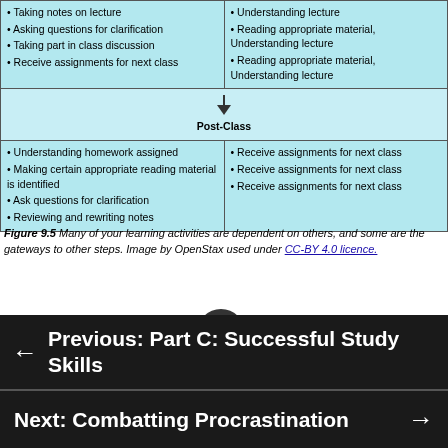| (left column) | (right column) |
| --- | --- |
| • Taking notes on lecture
• Asking questions for clarification
• Taking part in class discussion
• Receive assignments for next class | • Understanding lecture
• Reading appropriate material, Understanding lecture
• Reading appropriate material, Understanding lecture |
| Post-Class (merged) |  |
| • Understanding homework assigned
• Making certain appropriate reading material is identified
• Ask questions for clarification
• Reviewing and rewriting notes | • Receive assignments for next class
• Receive assignments for next class
• Receive assignments for next class |
Figure 9.5 Many of your learning activities are dependent on others, and some are the gateways to other steps. Image by OpenStax used under CC-BY 4.0 licence.
← Previous: Part C: Successful Study Skills
Next: Combatting Procrastination →